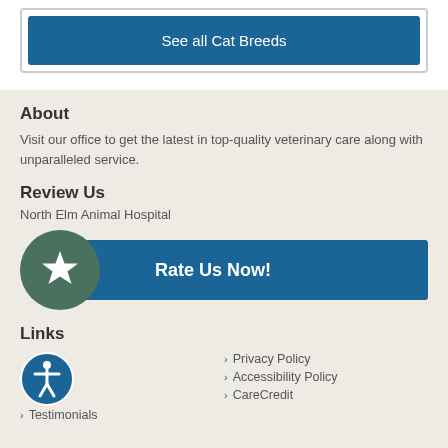See all Cat Breeds
About
Visit our office to get the latest in top-quality veterinary care along with unparalleled service.
Review Us
North Elm Animal Hospital
[Figure (other): Rate Us Now button with star circle icon on blue background]
Links
[Figure (other): Accessibility icon circle]
Privacy Policy
Accessibility Policy
Testimonials
CareCredit